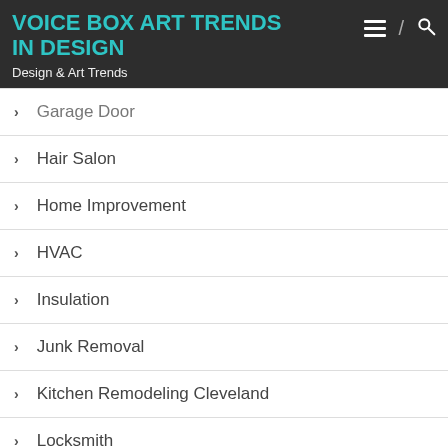VOICE BOX ART TRENDS IN DESIGN
Design & Art Trends
Garage Door
Hair Salon
Home Improvement
HVAC
Insulation
Junk Removal
Kitchen Remodeling Cleveland
Locksmith
Paving Contractor
Photography
Plumbing